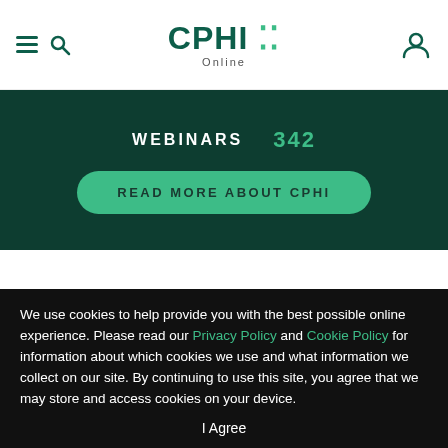CPHI Online — navigation header with hamburger menu, search icon, logo, and user icon
WEBINARS  342
READ MORE ABOUT CPHI
Electronic Temperature Monitoring
We use cookies to help provide you with the best possible online experience. Please read our Privacy Policy and Cookie Policy for information about which cookies we use and what information we collect on our site. By continuing to use this site, you agree that we may store and access cookies on your device.
I Agree